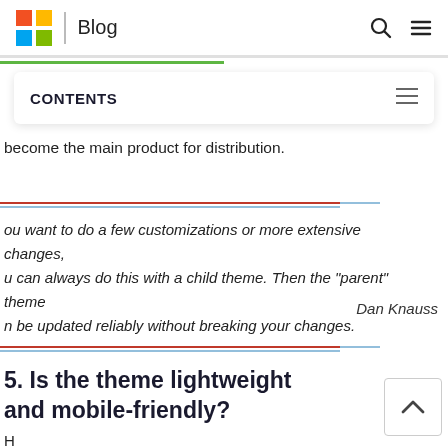Blog
CONTENTS
become the main product for distribution.
ou want to do a few customizations or more extensive changes, u can always do this with a child theme. Then the "parent" theme n be updated reliably without breaking your changes.
Dan Knauss
5. Is the theme lightweight and mobile-friendly?
H